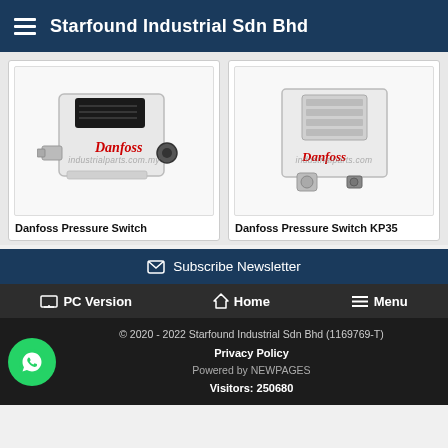Starfound Industrial Sdn Bhd
[Figure (photo): Danfoss pressure switch device, white box enclosure with black control panel and metal fittings, watermark: industrialparts.com.my]
Danfoss Pressure Switch
[Figure (photo): Danfoss Pressure Switch KP35, white rectangular enclosure with digital display panel and metal port fittings, watermark: industrialparts.com]
Danfoss Pressure Switch KP35
Subscribe Newsletter
PC Version   Home   Menu
© 2020 - 2022 Starfound Industrial Sdn Bhd (1169769-T)
Privacy Policy
Powered by NEWPAGES
Visitors: 250680